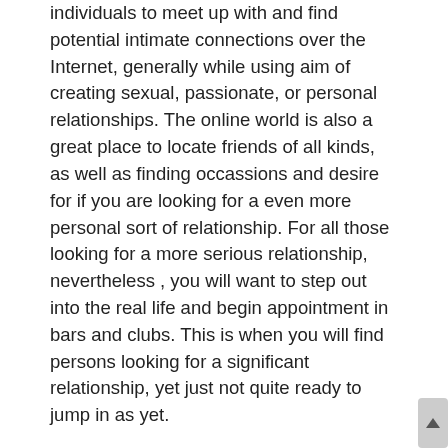individuals to meet up with and find potential intimate connections over the Internet, generally while using aim of creating sexual, passionate, or personal relationships. The online world is also a great place to locate friends of all kinds, as well as finding occassions and desire for if you are looking for a even more personal sort of relationship. For all those looking for a more serious relationship, nevertheless , you will want to step out into the real life and begin appointment in bars and clubs. This is when you will find persons looking for a significant relationship, yet just not quite ready to jump in as yet.
When you begin looking for a ideal online dating web page, there are several details that you will ought to consider just before you join. For instance, if you are already married, it might be unwise to meet someone online only for a marriage. There might be children involved in the future that you may have to stop and